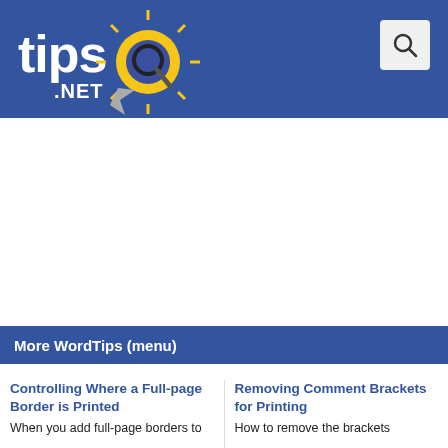tips.NET
More WordTips (menu)
Controlling Where a Full-page Border is Printed
When you add full-page borders to
Removing Comment Brackets for Printing
How to remove the brackets